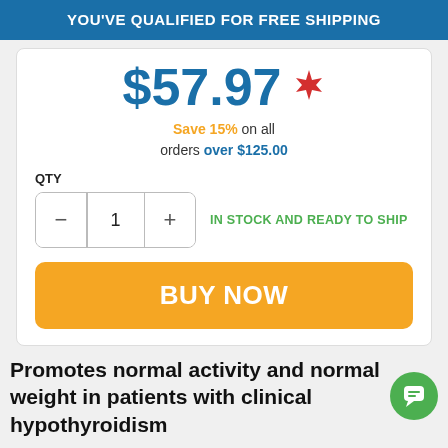YOU'VE QUALIFIED FOR FREE SHIPPING
$57.97 🍁
Save 15% on all orders over $125.00
QTY
1  IN STOCK AND READY TO SHIP
BUY NOW
Promotes normal activity and normal weight in patients with clinical hypothyroidism
Helps normalize metabolism
Promotes improved...